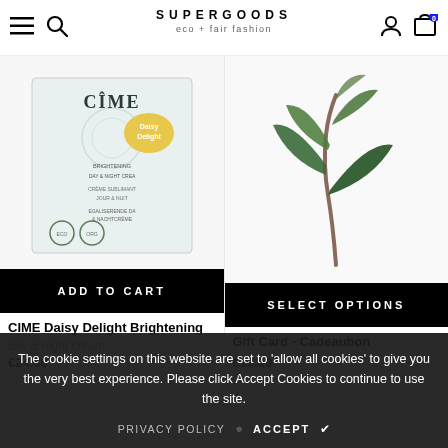SUPERGOODS eco + fair fashion
[Figure (photo): CIME Daisy Delight Brightening Day & Night Cream product box on white background]
ADD TO CART
CIME Daisy Delight Brightening
day & night cream
€24.50
[Figure (photo): Plant with green leaves on white background]
SELECT OPTIONS
Gift Card - Cadeaubon
€10.00
The cookie settings on this website are set to 'allow all cookies' to give you the very best experience. Please click Accept Cookies to continue to use the site.
PRIVACY POLICY   ACCEPT ✔